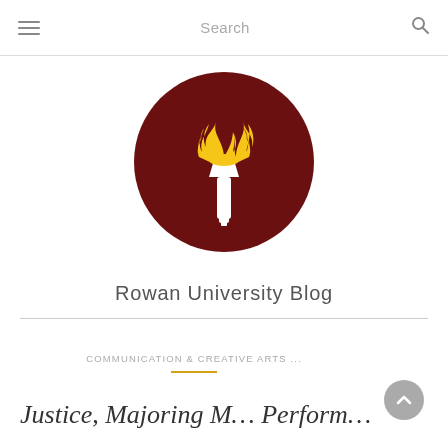Search
[Figure (logo): Rowan University torch logo — dark maroon circle with a white torch and yellow flame]
Rowan University Blog
COMMUNICATION & CREATIVE ARTS ...
Justice, Majoring, Majoring, Performing...